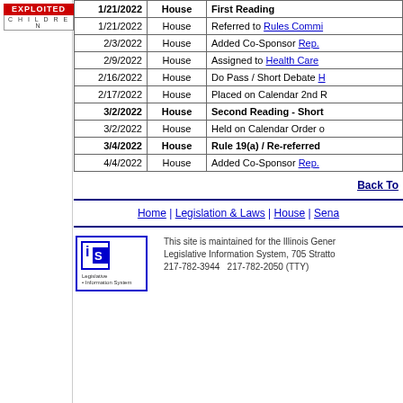[Figure (logo): National Center for Missing and Exploited Children logo - red box with EXPLOITED text and CHILDREN below]
| Date | Chamber | Action |
| --- | --- | --- |
| 1/21/2022 | House | First Reading |
| 1/21/2022 | House | Referred to Rules Commi... |
| 2/3/2022 | House | Added Co-Sponsor Rep.... |
| 2/9/2022 | House | Assigned to Health Care ... |
| 2/16/2022 | House | Do Pass / Short Debate H... |
| 2/17/2022 | House | Placed on Calendar 2nd R... |
| 3/2/2022 | House | Second Reading - Short... |
| 3/2/2022 | House | Held on Calendar Order o... |
| 3/4/2022 | House | Rule 19(a) / Re-referred ... |
| 4/4/2022 | House | Added Co-Sponsor Rep.... |
Back To...
Home | Legislation & Laws | House | Sena...
This site is maintained for the Illinois General Assembly by the Legislative Information System, 705 Stratton Building, Springfield, Illinois 62706. 217-782-3944   217-782-2050 (TTY)